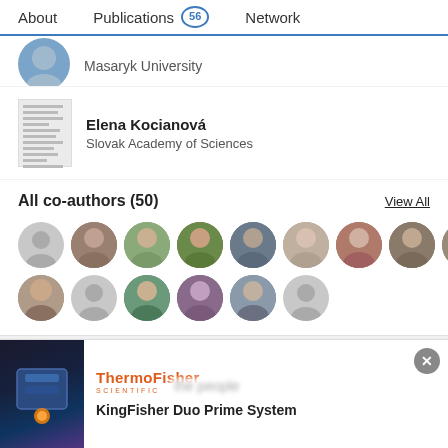About | Publications 56 | Network
Masaryk University
Elena Kocianová
Slovak Academy of Sciences
All co-authors (50)
View All
[Figure (photo): Grid of co-author profile photos/avatars — 10 in first row, 6 in second row]
Join ResearchGate to find the people and research you need to
[Figure (photo): Advertisement for KingFisher Duo Prime System by Thermo Fisher Scientific with product image]
KingFisher Duo Prime System